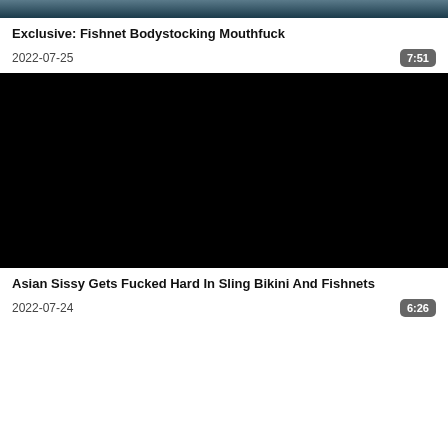[Figure (photo): Partial video thumbnail at top of page, dark blue-grey background]
Exclusive: Fishnet Bodystocking Mouthfuck
2022-07-25
7:51
[Figure (photo): Black video thumbnail for second video listing]
Asian Sissy Gets Fucked Hard In Sling Bikini And Fishnets
2022-07-24
6:26